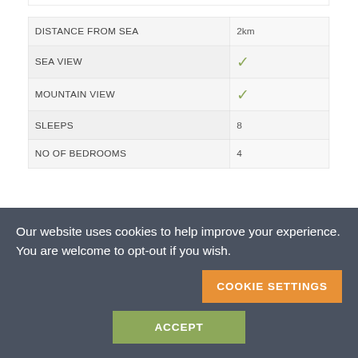|  |  |
| --- | --- |
| DISTANCE FROM SEA | 2km |
| SEA VIEW | ✓ |
| MOUNTAIN VIEW | ✓ |
| SLEEPS | 8 |
| NO OF BEDROOMS | 4 |
| BEDS |  |
| --- | --- |
| KING | – |
Our website uses cookies to help improve your experience. You are welcome to opt-out if you wish.
COOKIE SETTINGS
ACCEPT